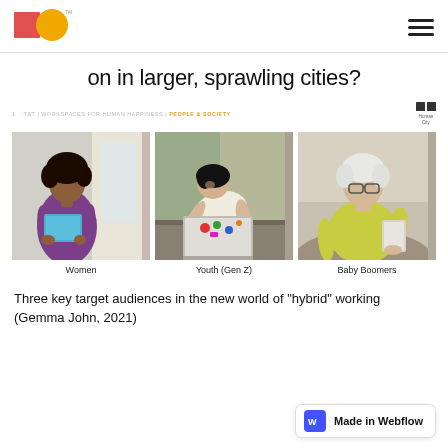T&T | WORKSPACES FOR HUMAN HAPPINESS | PEOPLE & SOCIETY
on in larger, sprawling cities?
[Figure (photo): Three photos side by side: a young Black woman in a purple shirt holding a tablet; a young man working on a laptop with stickers; an older woman with white hair and glasses reading a tablet.]
Women      Youth (Gen Z)      Baby Boomers
Three key target audiences in the new world of "hybrid" working (Gemma John, 2021)